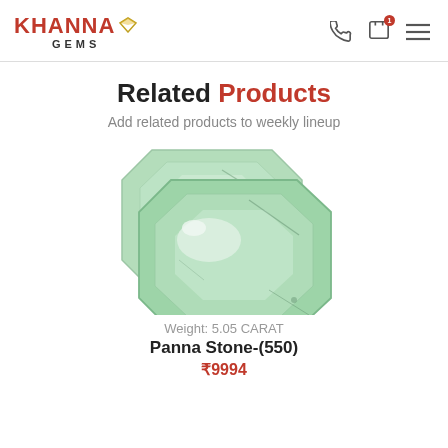KHANNA GEMS
Related Products
Add related products to weekly lineup
[Figure (photo): Two green emerald gemstones (Panna stones) displayed on white background, showing faceted rectangular cut gems with pale green color and natural inclusions.]
Weight: 5.05 CARAT
Panna Stone-(550)
₹9994